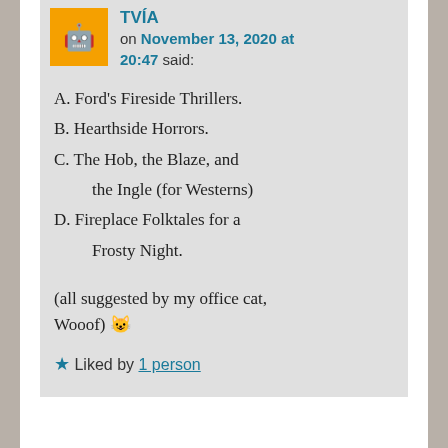TVÍA on November 13, 2020 at 20:47 said:
A. Ford's Fireside Thrillers.
B. Hearthside Horrors.
C. The Hob, the Blaze, and the Ingle (for Westerns)
D. Fireplace Folktales for a Frosty Night.
(all suggested by my office cat, Wooof) 😺
★ Liked by 1 person
Spira on November 13, 2020 at 21:22 said: